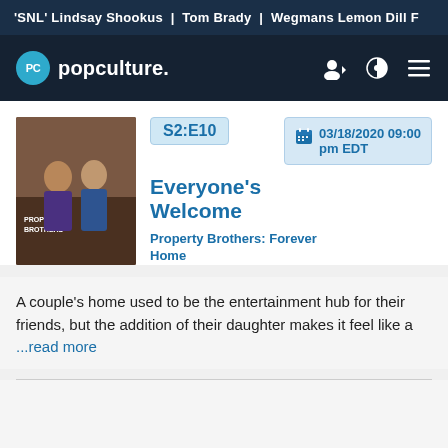'SNL' Lindsay Shookus | Tom Brady | Wegmans Lemon Dill F...
[Figure (logo): Popculture.com navigation bar with PC logo circle, site name 'popculture.' and nav icons]
[Figure (photo): Property Brothers: Forever Home show thumbnail with two men]
S2:E10
03/18/2020 09:00 pm EDT
Everyone's Welcome
Property Brothers: Forever Home
A couple's home used to be the entertainment hub for their friends, but the addition of their daughter makes it feel like a ...read more